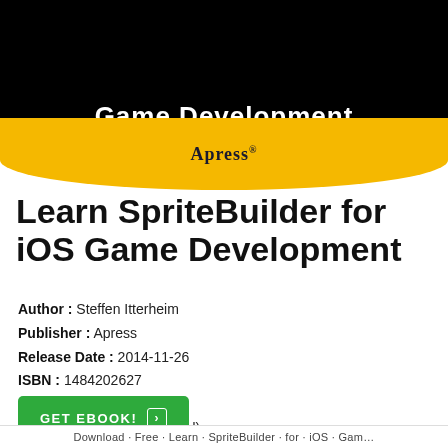[Figure (illustration): Book cover top section: black background with 'Game Development' text visible at top, author name 'Steffen Itterheim' centered, yellow curved band below with 'Apress' publisher logo]
Learn SpriteBuilder for iOS Game Development
Author : Steffen Itterheim
Publisher : Apress
Release Date : 2014-11-26
ISBN : 1484202627
Pages : 456 pages
Rating : 4.2/5 (22 Download)
GET EBOOK!
Download Free Learn SpriteBuilder for iOS Game…